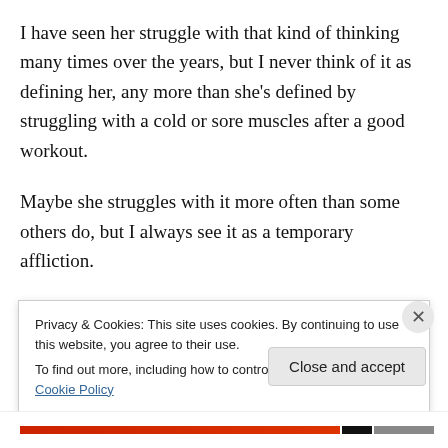I have seen her struggle with that kind of thinking many times over the years, but I never think of it as defining her, any more than she's defined by struggling with a cold or sore muscles after a good workout.
Maybe she struggles with it more often than some others do, but I always see it as a temporary affliction.
So is love blind?
Or is it more true that when we find ourselves mired down with everyday struggles and our own harsh judgements
Privacy & Cookies: This site uses cookies. By continuing to use this website, you agree to their use.
To find out more, including how to control cookies, see here: Cookie Policy